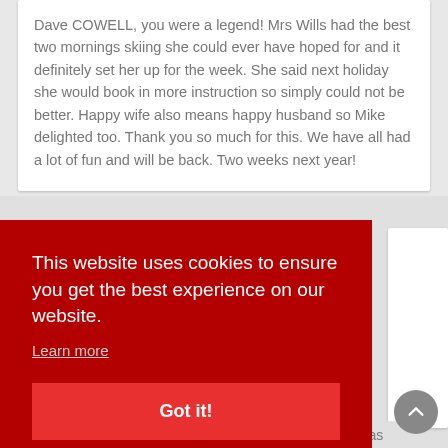Dave COWELL, you were a legend! Mrs Wills had the best two mornings skiing she could ever have hoped for and it definitely set her up for the week. She said next holiday she would book in more instruction so simply could not be better. Happy wife also means happy husband so Mike delighted too. Thank you so much for this. We have all had a lot of fun and will be back. Two weeks next year!
This website uses cookies to ensure you get the best experience on our website.
Learn more
Got it!
interesting places and we found good snow. Guillaume was